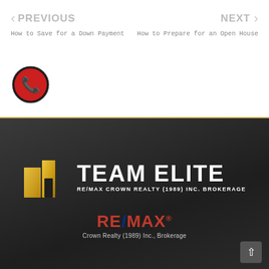PREVIOUS
How to Save for a Down Payment
NEXT
How to Prepare for an Open House
[Figure (illustration): Red circle with white phone handset icon]
[Figure (logo): Team Elite RE/MAX Crown Realty (1989) Inc. Brokerage logo with gold building icon on dark background]
[Figure (logo): RE/MAX Crown Realty (1989) Inc., Brokerage logo in red and blue]